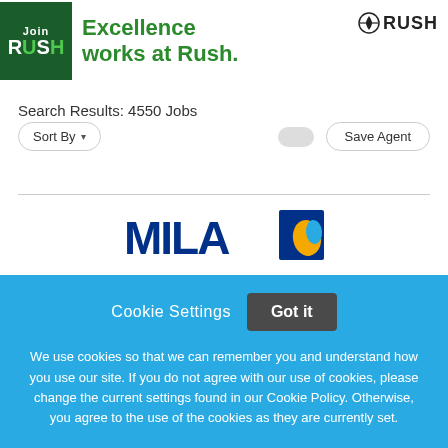[Figure (logo): Join RUSH green logo box with white text, and tagline 'Excellence works at Rush.' in green, plus RUSH logo top right]
Search Results: 4550 Jobs
Sort By ▾
Save Agent
[Figure (logo): Partial MILA logo visible at bottom of main content area]
Cookie Settings   Got it
We use cookies so that we can remember you and understand how you use our site. If you do not agree with our use of cookies, please change the current settings found in our Cookie Policy. Otherwise, you agree to the use of the cookies as they are currently set.